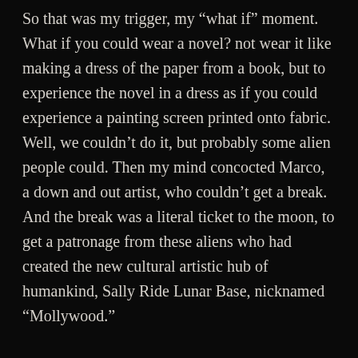So that was my trigger, my “what if” moment. What if you could wear a novel? not wear it like making a dress of the paper from a book, but to experience the novel in a dress as if you could experience a painting screen printed onto fabric. Well, we couldn’t do it, but probably some alien people could. Then my mind concocted Marco, a down and out artist, who couldn’t get a break. And the break was a literal ticket to the moon, to get a patronage from these aliens who had created the new cultural artistic hub of humankind, Sally Ride Lunar Base, nicknamed “Mollywood.”

So yay. I had Marco, bitter and